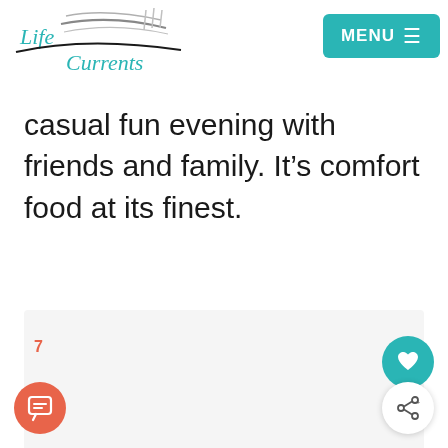[Figure (logo): Life Currents logo with a wave/fork graphic above the text]
[Figure (other): Teal MENU button with hamburger icon (≡) in top right corner]
casual fun evening with friends and family. It’s comfort food at its finest.
[Figure (photo): Food photo placeholder area (light gray)]
7
[Figure (other): Orange circular comment/chat button at bottom left]
[Figure (other): Teal circular heart/like button at bottom right]
[Figure (other): White circular share button at bottom right]